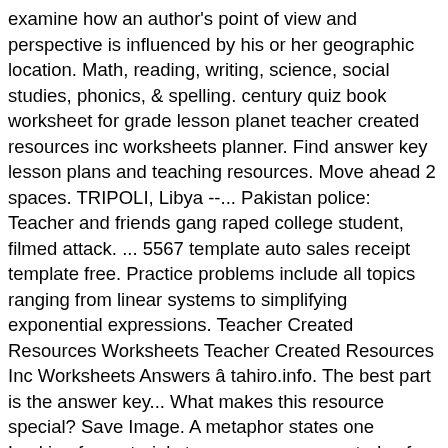examine how an author's point of view and perspective is influenced by his or her geographic location. Math, reading, writing, science, social studies, phonics, & spelling. century quiz book worksheet for grade lesson planet teacher created resources inc worksheets planner. Find answer key lesson plans and teaching resources. Move ahead 2 spaces. TRIPOLI, Libya --... Pakistan police: Teacher and friends gang raped college student, filmed attack. ... 5567 template auto sales receipt template free. Practice problems include all topics ranging from linear systems to simplifying exponential expressions. Teacher Created Resources Worksheets Teacher Created Resources Inc Worksheets Answers â tahiro.info. The best part is the answer key... What makes this resource special? Save Image. A metaphor states one Looking for materials to accompany your study of Flowers for Algernon, by Daniel Keyes? These resources will improve your students' math skills, no matter which grade you teach. Browse add 10 resources on Teachers Pay Teachers, a marketplace trusted by millions of teachers for original educational resources. Metaphors A metaphor is an indirect